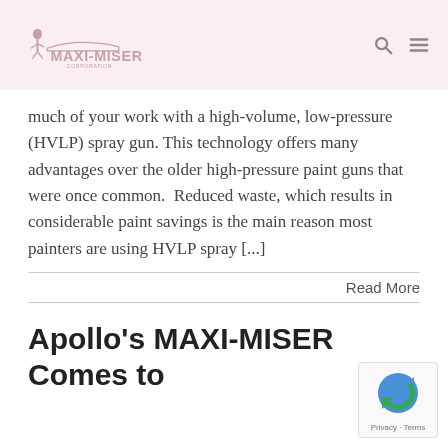MAXI-MISER
much of your work with a high-volume, low-pressure (HVLP) spray gun. This technology offers many advantages over the older high-pressure paint guns that were once common.  Reduced waste, which results in considerable paint savings is the main reason most painters are using HVLP spray [...]
Read More
Apollo's MAXI-MISER Comes to